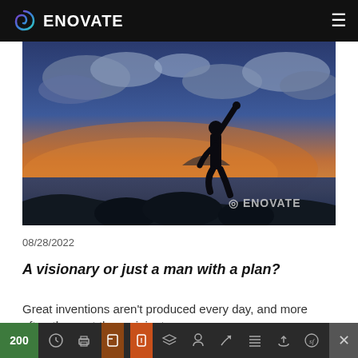ENOVATE
[Figure (photo): Silhouette of a person standing on rocks with one arm raised triumphantly against a dramatic sunset sky over the ocean, with the Enovate logo watermark in the lower right corner.]
08/28/2022
A visionary or just a man with a plan?
Great inventions aren't produced every day, and more often than not they originate
200